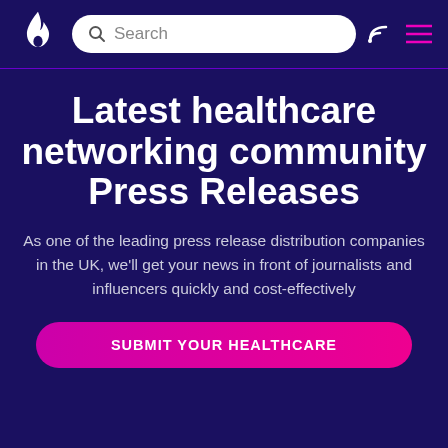Search bar with flame logo and navigation icons
Latest healthcare networking community Press Releases
As one of the leading press release distribution companies in the UK, we'll get your news in front of journalists and influencers quickly and cost-effectively
SUBMIT YOUR HEALTHCARE